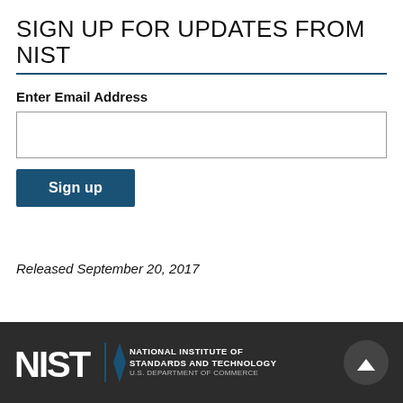SIGN UP FOR UPDATES FROM NIST
Enter Email Address
[Figure (other): Empty email input text field with border]
[Figure (other): Sign up button, blue background with white text]
Released September 20, 2017
[Figure (logo): NIST logo with text: National Institute of Standards and Technology, U.S. Department of Commerce]